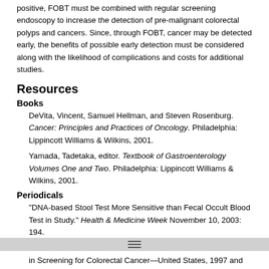positive, FOBT must be combined with regular screening endoscopy to increase the detection of pre-malignant colorectal polyps and cancers. Since, through FOBT, cancer may be detected early, the benefits of possible early detection must be considered along with the likelihood of complications and costs for additional studies.
Resources
Books
DeVita, Vincent, Samuel Hellman, and Steven Rosenburg. Cancer: Principles and Practices of Oncology. Philadelphia: Lippincott Williams & Wilkins, 2001.
Yamada, Tadetaka, editor. Textbook of Gastroenterology Volumes One and Two. Philadelphia: Lippincott Williams & Wilkins, 2001.
Periodicals
"DNA-based Stool Test More Sensitive than Fecal Occult Blood Test in Study." Health & Medicine Week November 10, 2003: 194.
From the Centers for Disease Control and Prevention. "Trends in Screening for Colorectal Cancer—United States, 1997 and 1999." Journal of the American Medical Association 28 (March 2001): 12.